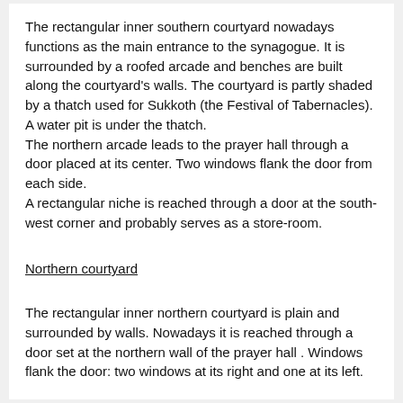The rectangular inner southern courtyard nowadays functions as the main entrance to the synagogue. It is surrounded by a roofed arcade and benches are built along the courtyard's walls. The courtyard is partly shaded by a thatch used for Sukkoth (the Festival of Tabernacles). A water pit is under the thatch. The northern arcade leads to the prayer hall through a door placed at its center. Two windows flank the door from each side. A rectangular niche is reached through a door at the south-west corner and probably serves as a store-room.
Northern courtyard
The rectangular inner northern courtyard is plain and surrounded by walls. Nowadays it is reached through a door set at the northern wall of the prayer hall . Windows flank the door: two windows at its right and one at its left.